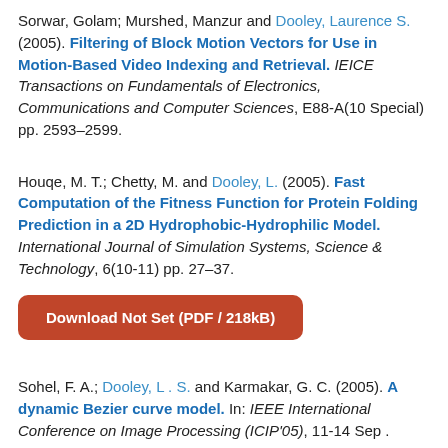Sorwar, Golam; Murshed, Manzur and Dooley, Laurence S. (2005). Filtering of Block Motion Vectors for Use in Motion-Based Video Indexing and Retrieval. IEICE Transactions on Fundamentals of Electronics, Communications and Computer Sciences, E88-A(10 Special) pp. 2593–2599.
Houqe, M. T.; Chetty, M. and Dooley, L. (2005). Fast Computation of the Fitness Function for Protein Folding Prediction in a 2D Hydrophobic-Hydrophilic Model. International Journal of Simulation Systems, Science & Technology, 6(10-11) pp. 27–37.
Download Not Set (PDF / 218kB)
Sohel, F. A.; Dooley, L . S. and Karmakar, G. C. (2005). A dynamic Bezier curve model. In: IEEE International Conference on Image Processing (ICIP'05), 11-14 Sep . 2005, Genoa.